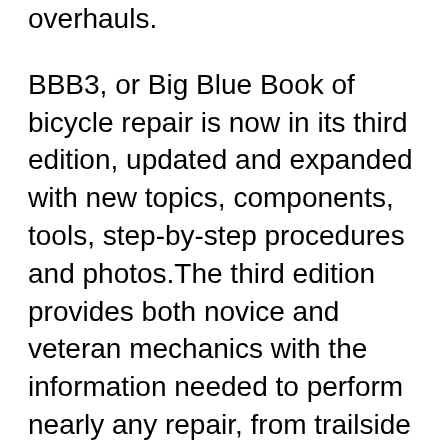overhauls.
BBB3, or Big Blue Book of bicycle repair is now in its third edition, updated and expanded with new topics, components, tools, step-by-step procedures and photos.The third edition provides both novice and veteran mechanics with the information needed to perform nearly any repair, from trailside adjustments to complete overhauls. The 4th edition of the Big Blue Book of Bicycle Repair is updated with the latest information, procedures and techniques and covers everything from minor adjustments to complete overhauls. The BBB-4 features clear, step-by-step instructions, high quality color photos and useful charts